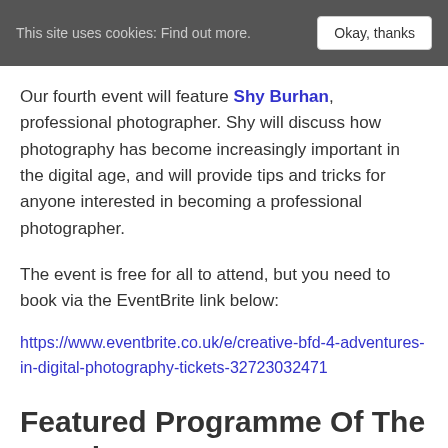This site uses cookies: Find out more. Okay, thanks
Our fourth event will feature Shy Burhan, professional photographer. Shy will discuss how photography has become increasingly important in the digital age, and will provide tips and tricks for anyone interested in becoming a professional photographer.
The event is free for all to attend, but you need to book via the EventBrite link below:
https://www.eventbrite.co.uk/e/creative-bfd-4-adventures-in-digital-photography-tickets-32723032471
Featured Programme Of The Month